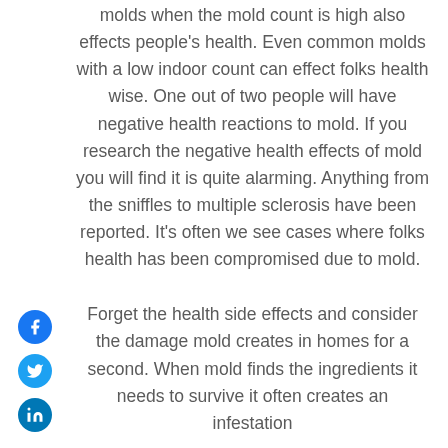molds when the mold count is high also effects people's health. Even common molds with a low indoor count can effect folks health wise. One out of two people will have negative health reactions to mold. If you research the negative health effects of mold you will find it is quite alarming. Anything from the sniffles to multiple sclerosis have been reported. It's often we see cases where folks health has been compromised due to mold.
Forget the health side effects and consider the damage mold creates in homes for a second. When mold finds the ingredients it needs to survive it often creates an infestation